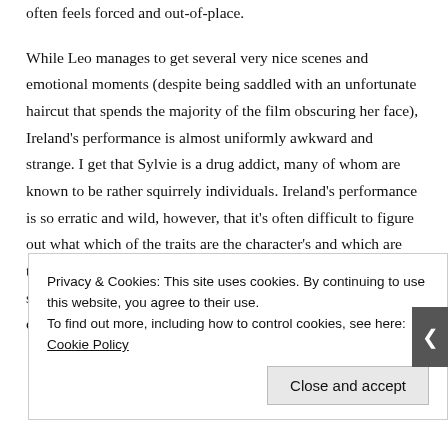often feels forced and out-of-place.
While Leo manages to get several very nice scenes and emotional moments (despite being saddled with an unfortunate haircut that spends the majority of the film obscuring her face), Ireland's performance is almost uniformly awkward and strange. I get that Sylvie is a drug addict, many of whom are known to be rather squirrely individuals. Ireland's performance is so erratic and wild, however, that it's often difficult to figure out what which of the traits are the character's and which are the actor's. At numerous points, a sly look from Sylvie would seem to telegraph something only to amount to nothing; at a certain point, I was
Privacy & Cookies: This site uses cookies. By continuing to use this website, you agree to their use.
To find out more, including how to control cookies, see here: Cookie Policy